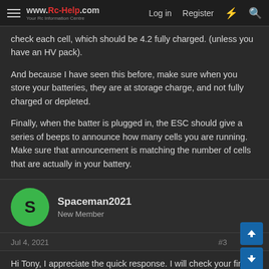www.Rc-Help.com — Log in | Register
check each cell, which should be 4.2 fully charged. (unless you have an HV pack).
And because I have seen this before, make sure when you store your batteries, they are at storage charge, and not fully charged or depleted.
Finally, when the batter is plugged in, the ESC should give a series of beeps to announce how many cells you are running. Make sure that announcement is matching the number of cells that are actually in your battery.
Spaceman2021
New Member
Jul 4, 2021
#3
Hi Tony, I appreciate the quick response. I will check your first recommendation - to set the LVC.